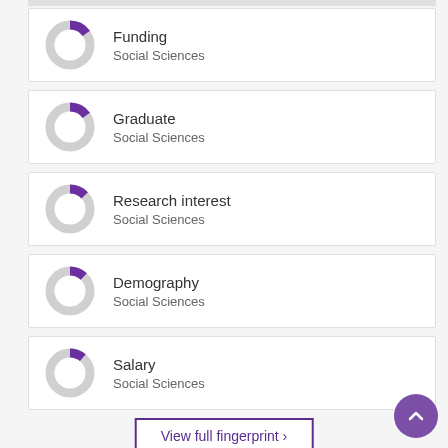[Figure (donut-chart): Funding]
Funding
Social Sciences
[Figure (donut-chart): Graduate]
Graduate
Social Sciences
[Figure (donut-chart): Research interest]
Research interest
Social Sciences
[Figure (donut-chart): Demography]
Demography
Social Sciences
[Figure (donut-chart): Salary]
Salary
Social Sciences
View full fingerprint ›